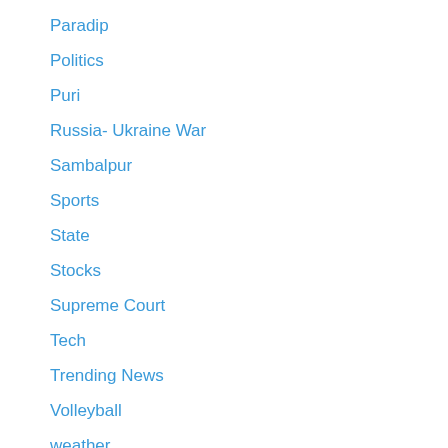Paradip
Politics
Puri
Russia- Ukraine War
Sambalpur
Sports
State
Stocks
Supreme Court
Tech
Trending News
Volleyball
weather